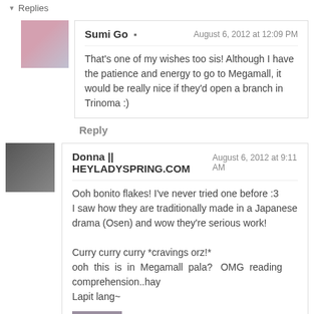▾ Replies
Sumi Go ▪ — August 6, 2012 at 12:09 PM
That's one of my wishes too sis! Although I have the patience and energy to go to Megamall, it would be really nice if they'd open a branch in Trinoma :)
Reply
Donna || HEYLADYSPRING.COM — August 6, 2012 at 9:11 AM
Ooh bonito flakes! I've never tried one before :3
I saw how they are traditionally made in a Japanese drama (Osen) and wow they're serious work!

Curry curry curry *cravings orz!*
ooh this is in Megamall pala? OMG reading comprehension..hay
Lapit lang~
Reply
▾ Replies